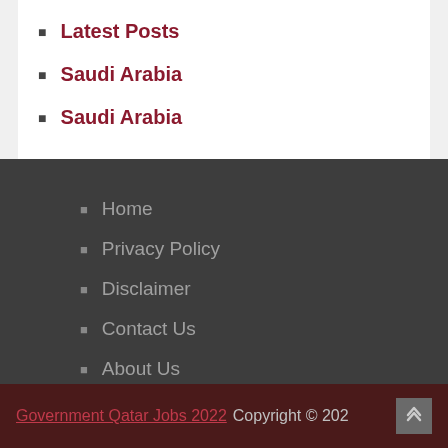Latest Posts
Saudi Arabia
Saudi Arabia
Home
Privacy Policy
Disclaimer
Contact Us
About Us
Government Qatar Jobs 2022 Copyright © 202